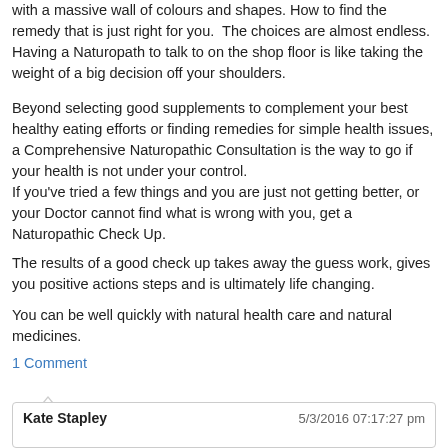with a massive wall of colours and shapes. How to find the remedy that is just right for you. The choices are almost endless. Having a Naturopath to talk to on the shop floor is like taking the weight of a big decision off your shoulders.
Beyond selecting good supplements to complement your best healthy eating efforts or finding remedies for simple health issues, a Comprehensive Naturopathic Consultation is the way to go if your health is not under your control. If you've tried a few things and you are just not getting better, or your Doctor cannot find what is wrong with you, get a Naturopathic Check Up.
The results of a good check up takes away the guess work, gives you positive actions steps and is ultimately life changing.
You can be well quickly with natural health care and natural medicines.
1 Comment
Kate Stapley    5/3/2016 07:17:27 pm